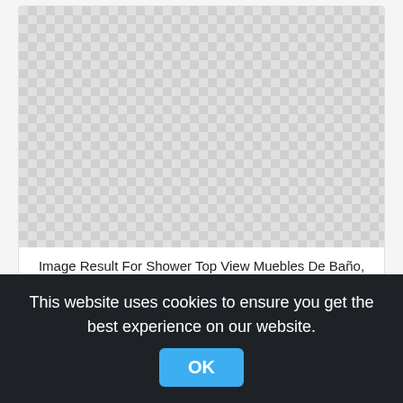[Figure (other): Checkered transparent background placeholder image (top card)]
Image Result For Shower Top View Muebles De Baño, Plantas, Shower Head Top View,plant top view png
251x407px
[Figure (other): Checkered transparent background placeholder image (bottom card)]
This website uses cookies to ensure you get the best experience on our website.
OK